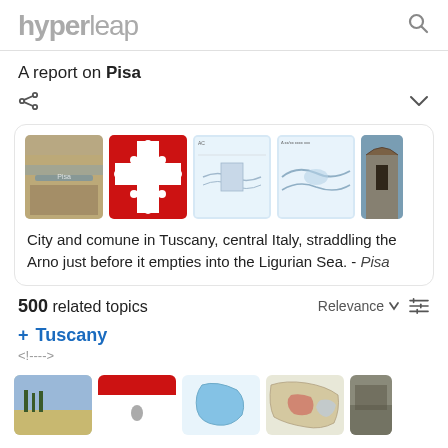hyperleap [search icon]
A report on Pisa
[Figure (screenshot): Card with images of Pisa: aerial city view, red cross emblem, historical maps x2, stone arch ruins; caption: City and comune in Tuscany, central Italy, straddling the Arno just before it empties into the Ligurian Sea. - Pisa]
500 related topics   Relevance
+ Tuscany
<!---->
[Figure (screenshot): Bottom image thumbnails for Tuscany: landscape, flag/emblem, map, regional map, photo]